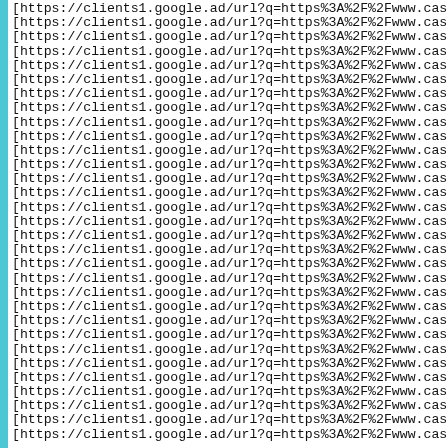[https://clients1.google.ad/url?q=https%3A%2F%2Fwww.casinop (repeated ~30 times, truncated at right edge)